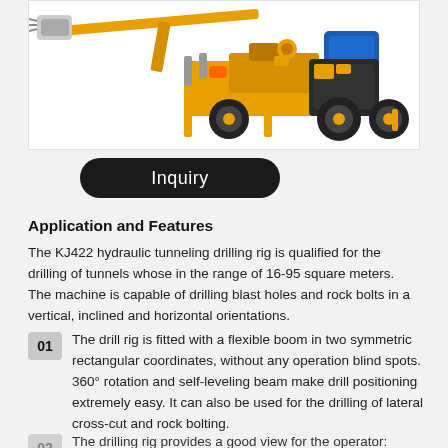[Figure (photo): KJ422 hydraulic tunneling drilling rig - yellow and black industrial machine on wheels with extended drill arm/boom, photographed from the side against a white background]
Inquiry
Application and Features
The KJ422 hydraulic tunneling drilling rig is qualified for the drilling of tunnels whose in the range of 16-95 square meters. The machine is capable of drilling blast holes and rock bolts in a vertical, inclined and horizontal orientations.
01 The drill rig is fitted with a flexible boom in two symmetric rectangular coordinates, without any operation blind spots. 360° rotation and self-leveling beam make drill positioning extremely easy. It can also be used for the drilling of lateral cross-cut and rock bolting.
The drilling rig provides a good view for the operator: